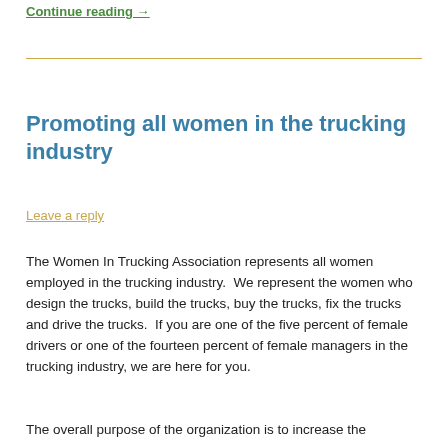Continue reading →
Promoting all women in the trucking industry
Leave a reply
The Women In Trucking Association represents all women employed in the trucking industry.  We represent the women who design the trucks, build the trucks, buy the trucks, fix the trucks and drive the trucks.  If you are one of the five percent of female drivers or one of the fourteen percent of female managers in the trucking industry, we are here for you.
The overall purpose of the organization is to increase the